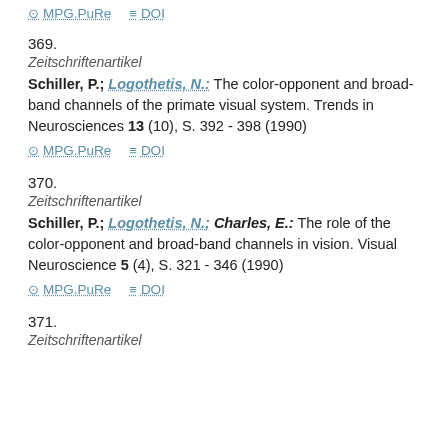MPG.PuRe   DOI (top links)
369.
Zeitschriftenartikel
Schiller, P.; Logothetis, N.: The color-opponent and broad-band channels of the primate visual system. Trends in Neurosciences 13 (10), S. 392 - 398 (1990)
MPG.PuRe   DOI
370.
Zeitschriftenartikel
Schiller, P.; Logothetis, N.; Charles, E.: The role of the color-opponent and broad-band channels in vision. Visual Neuroscience 5 (4), S. 321 - 346 (1990)
MPG.PuRe   DOI
371.
Zeitschriftenartikel